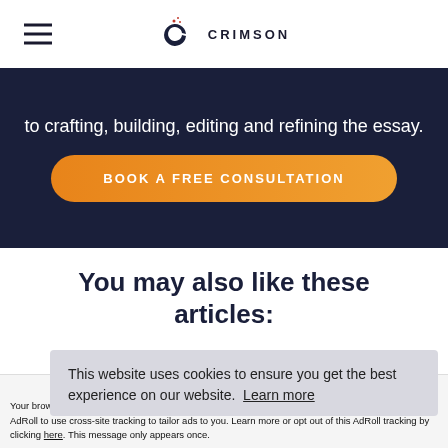CRIMSON
to crafting, building, editing and refining the essay.
BOOK A FREE CONSULTATION
You may also like these articles:
This website uses cookies to ensure you get the best experience on our website. Learn more
Accept and Close ✕
Your browser settings do not allow cross-site tracking for advertising. Click on this page to allow AdRoll to use cross-site tracking to tailor ads to you. Learn more or opt out of this AdRoll tracking by clicking here. This message only appears once.